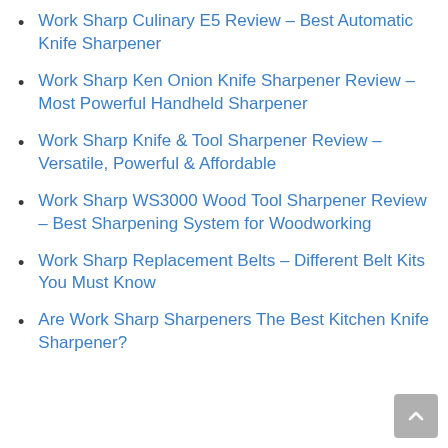Work Sharp Culinary E5 Review – Best Automatic Knife Sharpener
Work Sharp Ken Onion Knife Sharpener Review – Most Powerful Handheld Sharpener
Work Sharp Knife & Tool Sharpener Review – Versatile, Powerful & Affordable
Work Sharp WS3000 Wood Tool Sharpener Review – Best Sharpening System for Woodworking
Work Sharp Replacement Belts – Different Belt Kits You Must Know
Are Work Sharp Sharpeners The Best Kitchen Knife Sharpener?